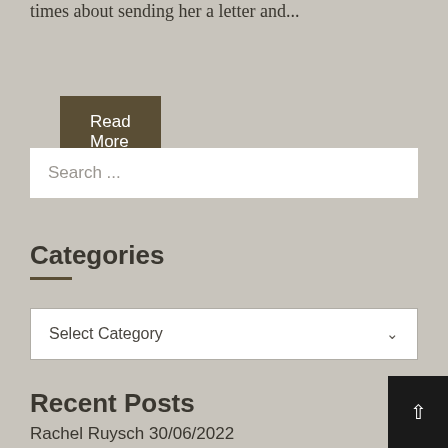times about sending her a letter and...
Read More
Search ...
Categories
Select Category
Recent Posts
Rachel Ruysch 30/06/2022